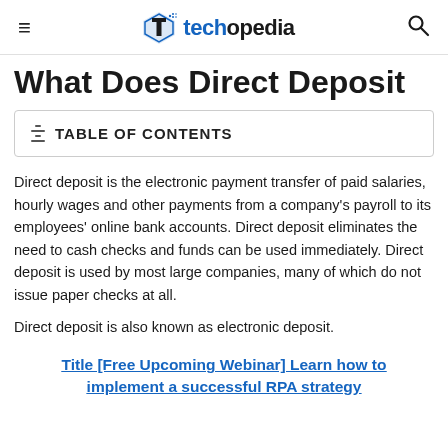techopedia
What Does Direct Deposit
TABLE OF CONTENTS
Direct deposit is the electronic payment transfer of paid salaries, hourly wages and other payments from a company's payroll to its employees' online bank accounts. Direct deposit eliminates the need to cash checks and funds can be used immediately. Direct deposit is used by most large companies, many of which do not issue paper checks at all.

Direct deposit is also known as electronic deposit.
Title [Free Upcoming Webinar] Learn how to implement a successful RPA strategy